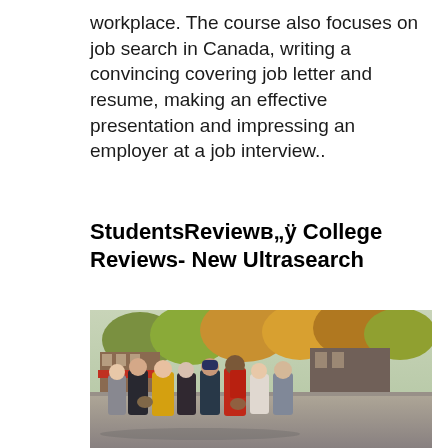workplace. The course also focuses on job search in Canada, writing a convincing covering job letter and resume, making an effective presentation and impressing an employer at a job interview..
StudentsReviewв„ÿ College Reviews- New Ultrasearch
[Figure (photo): A group of college students walking together outdoors on a campus path, with trees with autumn foliage in the background. Students are carrying backpacks and wearing casual clothing.]